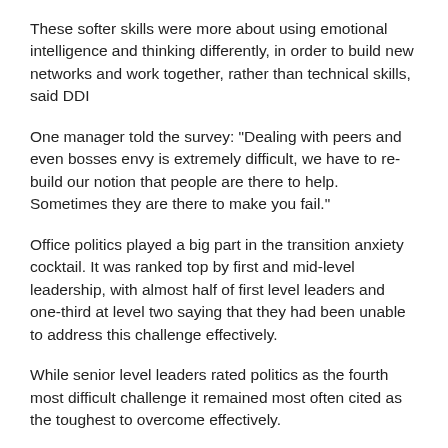These softer skills were more about using emotional intelligence and thinking differently, in order to build new networks and work together, rather than technical skills, said DDI
One manager told the survey: "Dealing with peers and even bosses envy is extremely difficult, we have to re-build our notion that people are there to help. Sometimes they are there to make you fail."
Office politics played a big part in the transition anxiety cocktail. It was ranked top by first and mid-level leadership, with almost half of first level leaders and one-third at level two saying that they had been unable to address this challenge effectively.
While senior level leaders rated politics as the fourth most difficult challenge it remained most often cited as the toughest to overcome effectively.